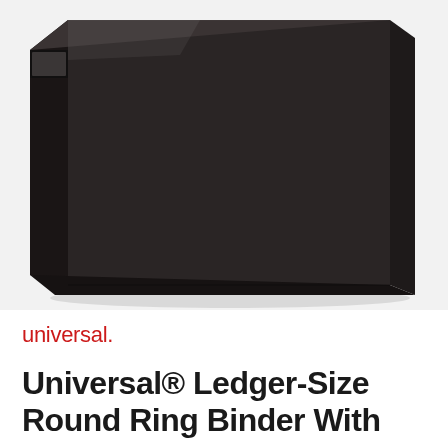[Figure (photo): A black universal ledger-size ring binder photographed at an angle against a white/light gray background, showing the spine and front cover of the binder. The binder has a dark matte finish. A small window/label holder is visible at the top of the spine.]
universal.
Universal® Ledger-Size Round Ring Binder With